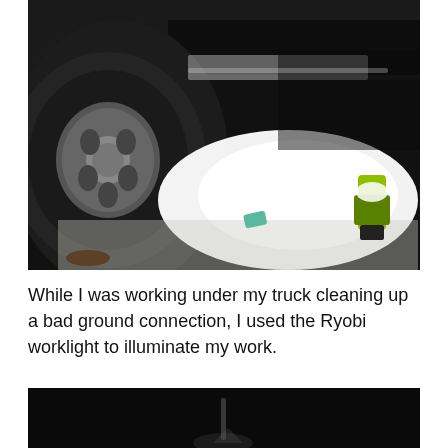[Figure (photo): Photo taken from ground level looking under a truck. A large dark tire with a grey alloy wheel is visible on the left. A bright white worklight (Ryobi) illuminates the underside of the truck and the concrete floor. A yellow-green Ryobi worklight tool is visible on the right side on the floor. A small item (possibly a rag or part) is on the floor in the center.]
While I was working under my truck cleaning up a bad ground connection, I used the Ryobi worklight to illuminate my work.
[Figure (photo): A dark photograph, mostly black, showing a dimly lit scene, possibly under a vehicle or in a dark workspace. A faint vertical reflection or light source is barely visible.]